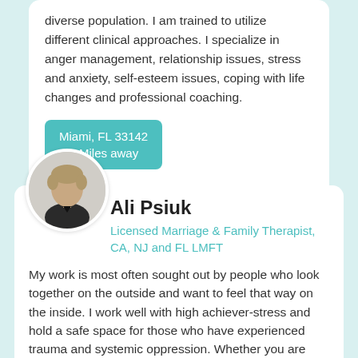diverse population. I am trained to utilize different clinical approaches. I specialize in anger management, relationship issues, stress and anxiety, self-esteem issues, coping with life changes and professional coaching.
Miami, FL 33142
4.4 Miles away
Provides LGBTQ Issues Therapy
Ali Psiuk
Licensed Marriage & Family Therapist, CA, NJ and FL LMFT
My work is most often sought out by people who look together on the outside and want to feel that way on the inside. I work well with high achiever-stress and hold a safe space for those who have experienced trauma and systemic oppression. Whether you are seeking to heal or enhance your